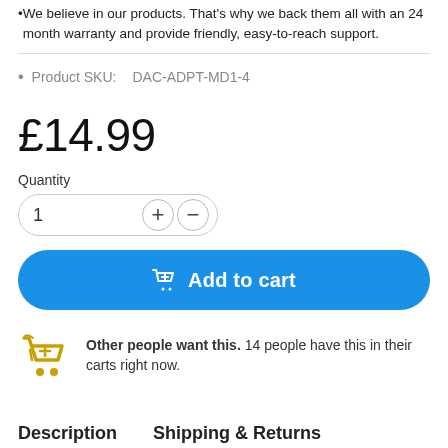We believe in our products. That's why we back them all with an 24 month warranty and provide friendly, easy-to-reach support.
Product SKU:   DAC-ADPT-MD1-4
£14.99
Quantity
1
Add to cart
Other people want this. 14 people have this in their carts right now.
Description   Shipping & Returns